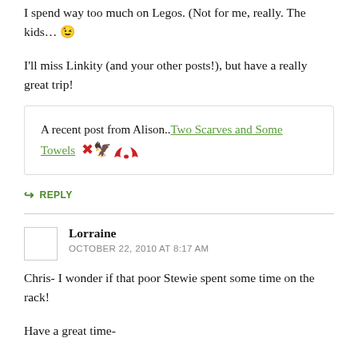I spend way too much on Legos. (Not for me, really. The kids… 😉
I'll miss Linkity (and your other posts!), but have a really great trip!
A recent post from Alison..Two Scarves and Some Towels 🦅
↪ REPLY
Lorraine
OCTOBER 22, 2010 AT 8:17 AM
Chris- I wonder if that poor Stewie spent some time on the rack!
Have a great time-